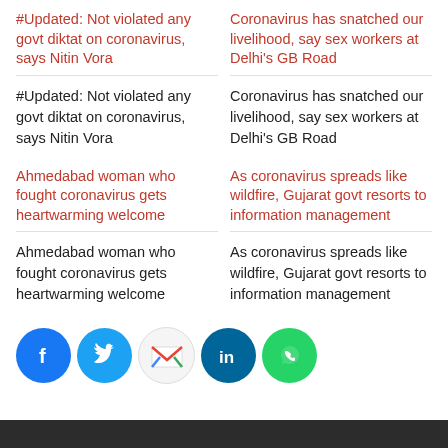#Updated: Not violated any govt diktat on coronavirus, says Nitin Vora
#Updated: Not violated any govt diktat on coronavirus, says Nitin Vora
Coronavirus has snatched our livelihood, say sex workers at Delhi's GB Road
Coronavirus has snatched our livelihood, say sex workers at Delhi's GB Road
Ahmedabad woman who fought coronavirus gets heartwarming welcome
Ahmedabad woman who fought coronavirus gets heartwarming welcome
As coronavirus spreads like wildfire, Gujarat govt resorts to information management
As coronavirus spreads like wildfire, Gujarat govt resorts to information management
[Figure (infographic): Social media share buttons: Facebook, Twitter, Gmail, LinkedIn, WhatsApp]